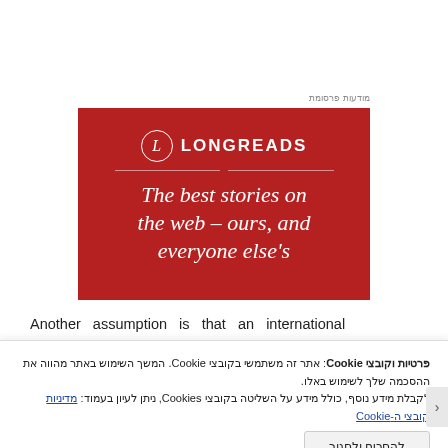מודעות פרסומת
[Figure (advertisement): Longreads advertisement on red background with logo circle containing 'L', brand name LONGREADS, and italic serif tagline 'The best stories on the web – ours, and everyone else's']
Another assumption is that an international
פרטיות וקובצי Cookie: אתר זה משתמשי בקובצי Cookie. המשך השימוש באתר מהווה את ההסכמה שלך לשימוש באלו.
לקבלת מידע נוסף, כולל מידע על השליטה בקובצי Cookies, ניתן לעיון בעמוד: מדיניות קובצי ה-Cookie
להסכים ולסגור